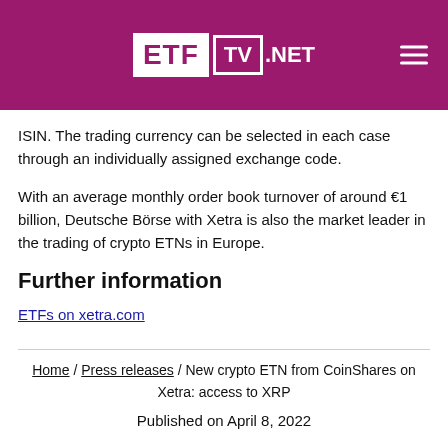ETF TV .NET
ISIN. The trading currency can be selected in each case through an individually assigned exchange code.
With an average monthly order book turnover of around €1 billion, Deutsche Börse with Xetra is also the market leader in the trading of crypto ETNs in Europe.
Further information
ETFs on xetra.com
Home / Press releases / New crypto ETN from CoinShares on Xetra: access to XRP
Published on April 8, 2022